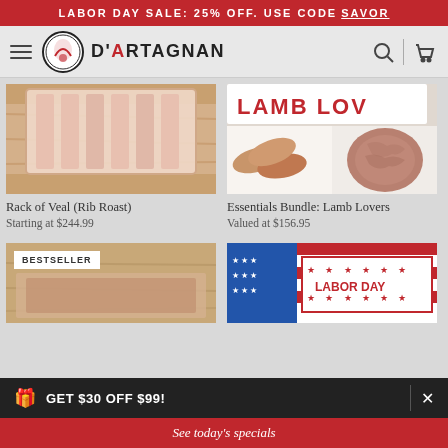LABOR DAY SALE: 25% OFF. USE CODE SAVOR
[Figure (logo): D'Artagnan brand logo with navigation bar, hamburger menu, logo circle, brand name, search and cart icons]
[Figure (photo): Rack of Veal (Rib Roast) product photo showing raw meat on wooden board]
Rack of Veal (Rib Roast)
Starting at $244.99
[Figure (photo): Essentials Bundle: Lamb Lovers product photo showing sausages and ground lamb with LAMB LOVERS text]
Essentials Bundle: Lamb Lovers
Valued at $156.95
[Figure (photo): Bestseller product photo with BESTSELLER badge on wooden board]
[Figure (photo): Labor Day themed product box with American flag design]
GET $30 OFF $99!
See today's specials